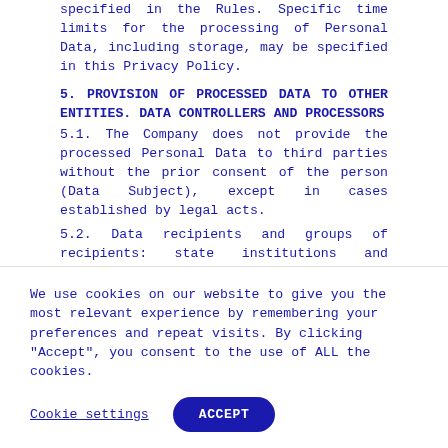specified in the Rules. Specific time limits for the processing of Personal Data, including storage, may be specified in this Privacy Policy.
5. PROVISION OF PROCESSED DATA TO OTHER ENTITIES. DATA CONTROLLERS AND PROCESSORS
5.1. The Company does not provide the processed Personal Data to third parties without the prior consent of the person (Data Subject), except in cases established by legal acts.
5.2. Data recipients and groups of recipients: state institutions and bodies, law enforcement institutions, auditors and financial advisors...
We use cookies on our website to give you the most relevant experience by remembering your preferences and repeat visits. By clicking "Accept", you consent to the use of ALL the cookies.
Cookie settings
ACCEPT